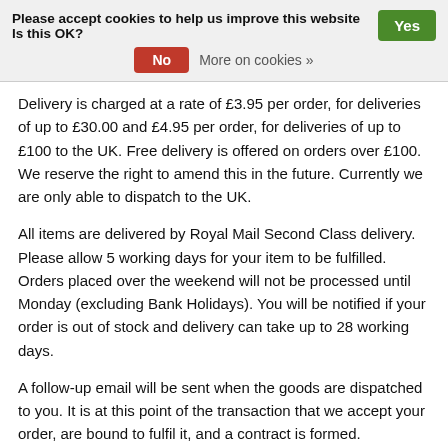Please accept cookies to help us improve this website Is this OK? Yes No More on cookies »
Delivery is charged at a rate of £3.95 per order, for deliveries of up to £30.00 and £4.95 per order, for deliveries of up to £100 to the UK. Free delivery is offered on orders over £100. We reserve the right to amend this in the future. Currently we are only able to dispatch to the UK.
All items are delivered by Royal Mail Second Class delivery. Please allow 5 working days for your item to be fulfilled. Orders placed over the weekend will not be processed until Monday (excluding Bank Holidays). You will be notified if your order is out of stock and delivery can take up to 28 working days.
A follow-up email will be sent when the goods are dispatched to you. It is at this point of the transaction that we accept your order, are bound to fulfil it, and a contract is formed.
If an item you have requested is temporarily out of stock it will